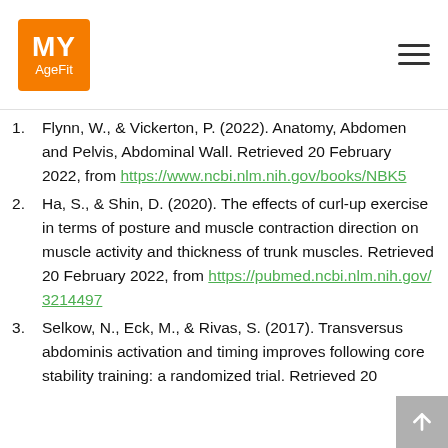MY AgeFit
Flynn, W., & Vickerton, P. (2022). Anatomy, Abdomen and Pelvis, Abdominal Wall. Retrieved 20 February 2022, from https://www.ncbi.nlm.nih.gov/books/NBK5
Ha, S., & Shin, D. (2020). The effects of curl-up exercise in terms of posture and muscle contraction direction on muscle activity and thickness of trunk muscles. Retrieved 20 February 2022, from https://pubmed.ncbi.nlm.nih.gov/3214497
Selkow, N., Eck, M., & Rivas, S. (2017). Transversus abdominis activation and timing improves following core stability training: a randomized trial. Retrieved 20